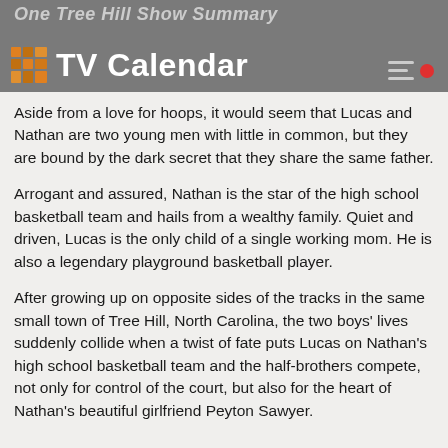One Tree Hill Show Summary TV Calendar
Aside from a love for hoops, it would seem that Lucas and Nathan are two young men with little in common, but they are bound by the dark secret that they share the same father.
Arrogant and assured, Nathan is the star of the high school basketball team and hails from a wealthy family. Quiet and driven, Lucas is the only child of a single working mom. He is also a legendary playground basketball player.
After growing up on opposite sides of the tracks in the same small town of Tree Hill, North Carolina, the two boys' lives suddenly collide when a twist of fate puts Lucas on Nathan's high school basketball team and the half-brothers compete, not only for control of the court, but also for the heart of Nathan's beautiful girlfriend Peyton Sawyer.